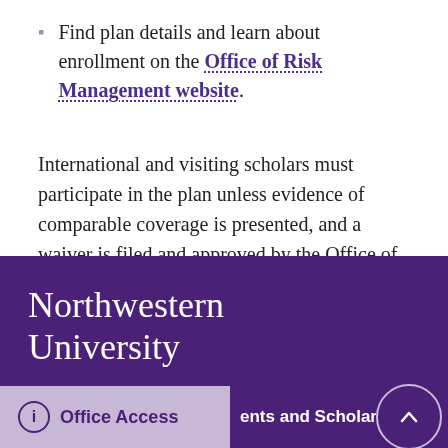Find plan details and learn about enrollment on the Office of Risk Management website.
International and visiting scholars must participate in the plan unless evidence of comparable coverage is presented, and a waiver is filed and approved by the Office of Risk Management.
Northwestern University   Office Access   ents and Scholar Servi